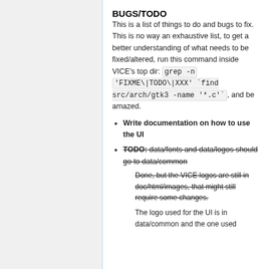BUGS/TODO
This is a list of things to do and bugs to fix. This is no way an exhaustive list, to get a better understanding of what needs to be fixed/altered, run this command inside VICE's top dir: grep -n 'FIXME\|TODO\|XXX' `find src/arch/gtk3 -name '*.c'`, and be amazed.
Write documentation on how to use the UI
TODO: data/fonts and data/logos should go to data/common
  Done, but the VICE logos are still in doc/html/images, that might still require some changes.
  The logo used for the UI is in data/common and the one used